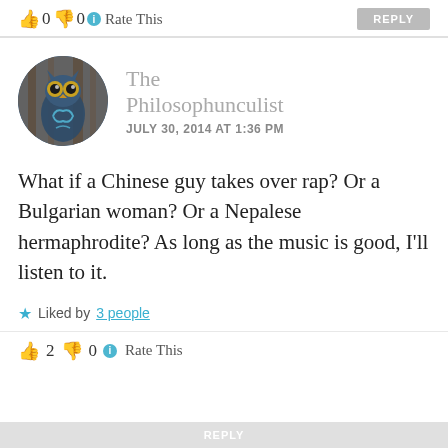0  0  Rate This  REPLY
The Philosophunculist
JULY 30, 2014 AT 1:36 PM
What if a Chinese guy takes over rap? Or a Bulgarian woman? Or a Nepalese hermaphrodite? As long as the music is good, I'll listen to it.
Liked by 3 people
2  0  Rate This
REPLY